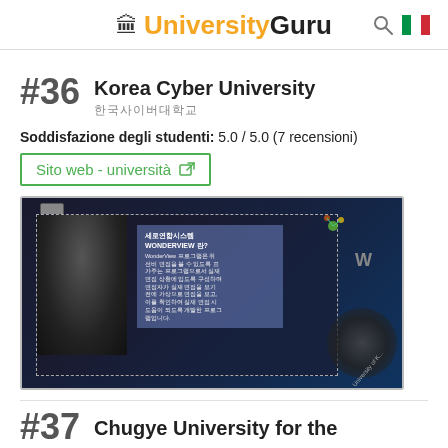UniversityGuru
#36 Korea Cyber University
한국사이버대학교
Soddisfazione degli studenti: 5.0 / 5.0 (7 recensioni)
Sito web - università
[Figure (screenshot): Screenshot of Korea Cyber University promotional material showing WONDERVIEW program description in Korean, with a face partially visible and university logo.]
#37 Chugye University for the